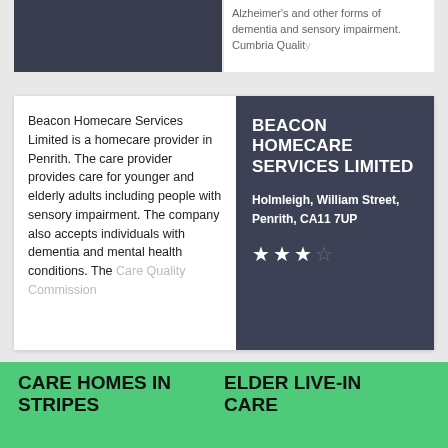Alzheimer's and other forms of dementia and sensory impairment. Cumbria Quality...
Beacon Homecare Services Limited is a homecare provider in Penrith. The care provider provides care for younger and elderly adults including people with sensory impairment. The company also accepts individuals with dementia and mental health conditions. The Care Quality Commission...
BEACON HOMECARE SERVICES LIMITED
Holmleigh, William Street, Penrith, CA11 7UP
[Figure (other): 3 out of 4 stars rating]
This website uses data from the CQC and NHS Choices
[Figure (logo): NHS Choices logo with 'content supplied by' text]
CARE HOMES IN STRIPES
ELDER LIVE-IN CARE